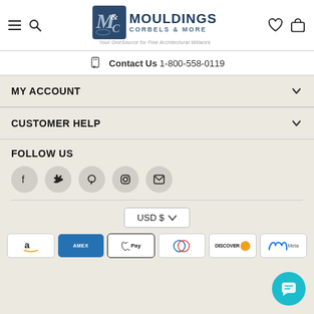[Figure (logo): Mouldings Corbels & More logo with stylized M&C emblem, tagline: Your OneSource for Fine Architectural Millwork]
Contact Us  1-800-558-0119
MY ACCOUNT
CUSTOMER HELP
FOLLOW US
[Figure (infographic): Social media icons: Facebook, Twitter, Pinterest, Instagram, Email]
USD $
[Figure (infographic): Payment method icons: Amazon, American Express, Apple Pay, Diners Club, Discover, Meta Pay]